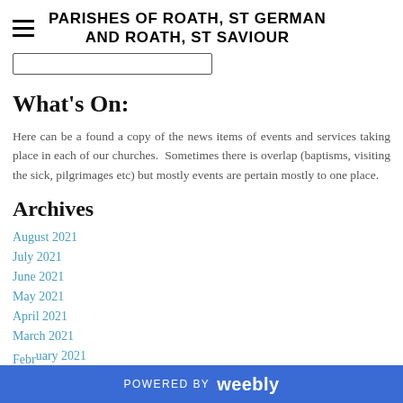PARISHES OF ROATH, ST GERMAN AND ROATH, ST SAVIOUR
What's On:
Here can be a found a copy of the news items of events and services taking place in each of our churches.  Sometimes there is overlap (baptisms, visiting the sick, pilgrimages etc) but mostly events are pertain mostly to one place.
Archives
August 2021
July 2021
June 2021
May 2021
April 2021
March 2021
February 2021
POWERED BY weebly